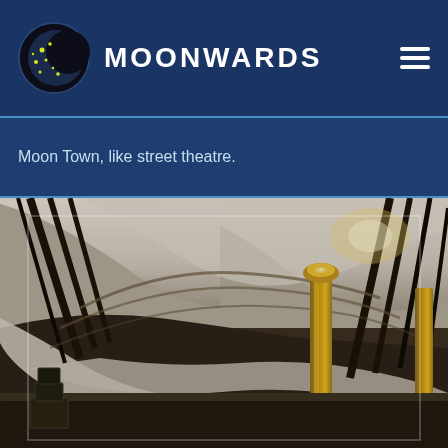MOONWARDS
Moon Town, like street theatre.
[Figure (photo): Interior architectural photo showing curving white structural elements, diagonal black beams, golden columns, and vaulted ceiling of a modern building interior viewed from below]